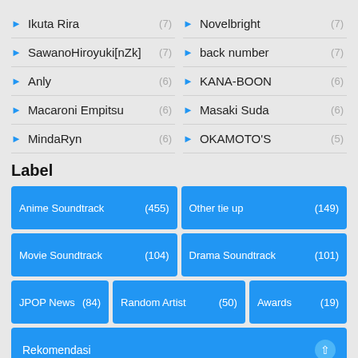Ikuta Rira (7)
Novelbright (7)
SawanoHiroyuki[nZk] (7)
back number (7)
Anly (6)
KANA-BOON (6)
Macaroni Empitsu (6)
Masaki Suda (6)
MindaRyn (6)
OKAMOTO'S (5)
Label
Anime Soundtrack (455)
Other tie up (149)
Movie Soundtrack (104)
Drama Soundtrack (101)
JPOP News (84)
Random Artist (50)
Awards (19)
Rekomendasi
Notice